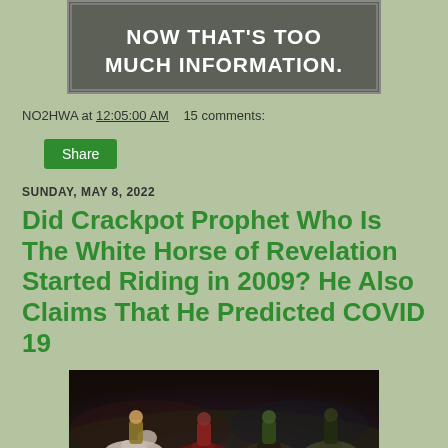[Figure (photo): Meme image with dark background and text 'NOW THAT'S TOO MUCH INFORMATION.']
NO2HWA at 12:05:00 AM   15 comments:
Share
SUNDAY, MAY 8, 2022
Did Crackpot Prophet Who Is The White Horse of Revelation Started Riding in 2009? He Also Claims That He Predicted COVID 19
[Figure (illustration): Fantasy illustration of the Four Horsemen of the Apocalypse on horseback with dramatic dark background]